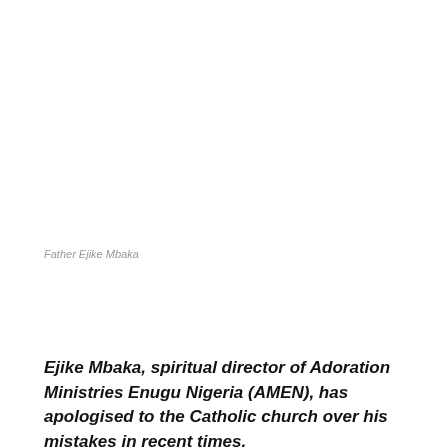Father Ejike Mbaka
Ejike Mbaka, spiritual director of Adoration Ministries Enugu Nigeria (AMEN), has apologised to the Catholic church over his mistakes in recent times.